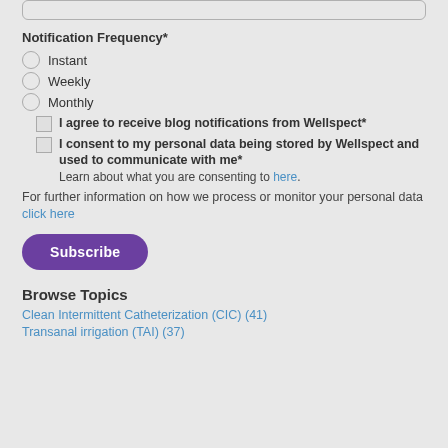Notification Frequency*
Instant
Weekly
Monthly
I agree to receive blog notifications from Wellspect*
I consent to my personal data being stored by Wellspect and used to communicate with me*
Learn about what you are consenting to here.
For further information on how we process or monitor your personal data click here
Subscribe
Browse Topics
Clean Intermittent Catheterization (CIC) (41)
Transanal irrigation (TAI) (37)